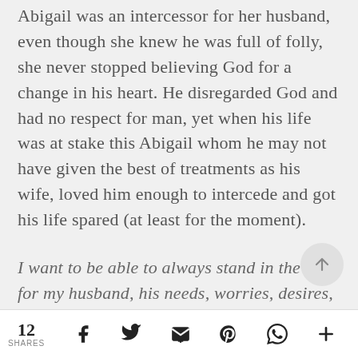Abigail was an intercessor for her husband, even though she knew he was full of folly, she never stopped believing God for a change in his heart. He disregarded God and had no respect for man, yet when his life was at stake this Abigail whom he may not have given the best of treatments as his wife, loved him enough to intercede and got his life spared (at least for the moment).
I want to be able to always stand in the gap for my husband, his needs, worries, desires, emotions, job, profession and every other thing to God for a change. I
12 SHARES